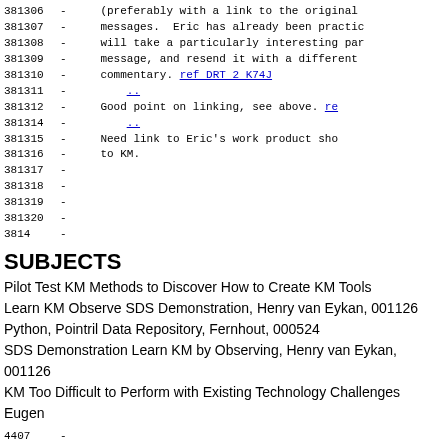381306 - (preferably with a link to the original
381307 - messages.  Eric has already been practic
381308 - will take a particularly interesting par
381309 - message, and resend it with a different
381310 - commentary. ref DRT 2 K74J
381311 - ..
381312 - Good point on linking, see above. re
381314 - ..
381315 - Need link to Eric's work product sho
381316 - to KM.
381317 -
381318 -
381319 -
381320 -
3814 -
SUBJECTS
Pilot Test KM Methods to Discover How to Create KM Tools
Learn KM Observe SDS Demonstration, Henry van Eykan, 001126
Python, Pointril Data Repository, Fernhout, 000524
SDS Demonstration Learn KM by Observing, Henry van Eykan, 001126
KM Too Difficult to Perform with Existing Technology Challenges Eugen
4407 -
4408 - 2246 Henry van Eykan responds to Eugene
440901 - ..
440902 - SDS Demonstration for Project Team Propose
440903 -
440904 - Received ref DRT 3 0001 from Henry commending E